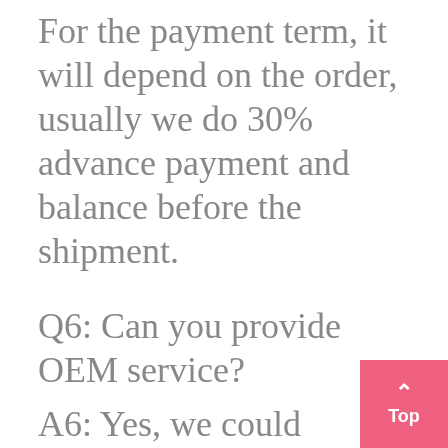For the payment term, it will depend on the order, usually we do 30% advance payment and balance before the shipment.
Q6: Can you provide OEM service?
A6: Yes, we could customize the products according to your requirement. We have best designer and professional team in this